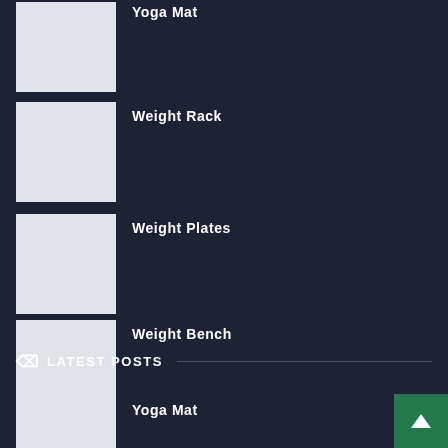Yoga Mat
Weight Rack
Weight Plates
Weight Bench
LATEST POSTS
Yoga Mat